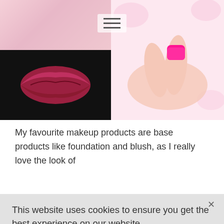[Figure (photo): Two side-by-side beauty/makeup photos: left shows a dark background with a red lip print/kiss mark; right shows a hand with bright pink/hot pink nail polish, with pink floral background]
My favourite makeup products are base products like foundation and blush, as I really love the look of [partially obscured text] ve to [partially obscured text] its [partially obscured text] ny [partially obscured text]
This website uses cookies to ensure you get the best experience on our website.
Learn more
Decline
Accept
at
nd
ite